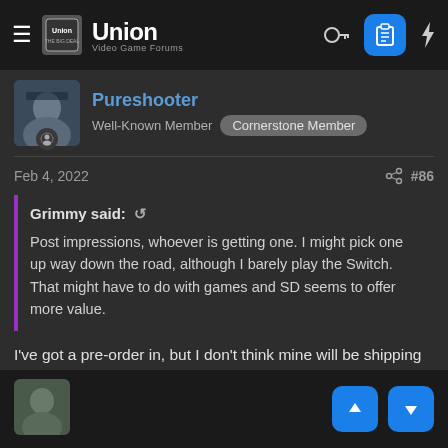Union Video Game Forums
Pureshooter
Well-Known Member  Cornerstone Member
Feb 4, 2022  #86
Grimmy said:  ↺

Post impressions, whoever is getting one. I might pick one up way down the road, although I barely play the Switch. That might have to do with games and SD seems to offer more value.
I've got a pre-order in, but I don't think mine will be shipping until summer at least.